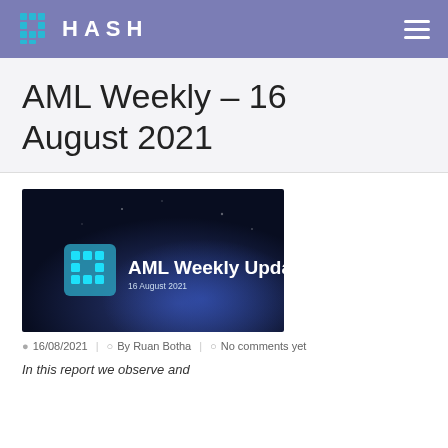HASH
AML Weekly – 16 August 2021
[Figure (screenshot): Dark background promotional image showing the Hash logo alongside text 'AML Weekly Update' and '16 August 2021']
16/08/2021 | By Ruan Botha | No comments yet
In this report we observe and